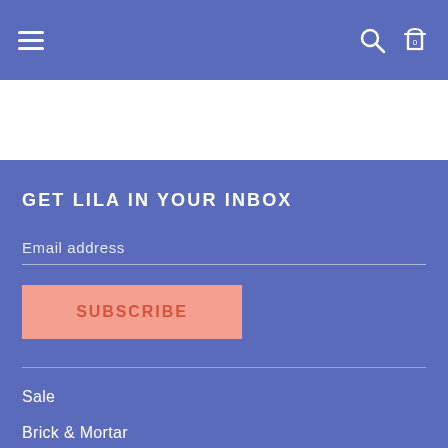Navigation bar with hamburger menu, search and cart icons
GET LILA IN YOUR INBOX
Email address
SUBSCRIBE
Sale
Brick & Mortar